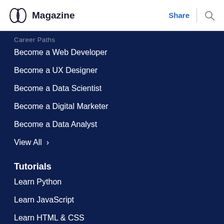Magazine | Share
Career Paths
Become a Web Developer
Become a UX Designer
Become a Data Scientist
Become a Digital Marketer
Become a Data Analyst
View All >
Tutorials
Learn Python
Learn JavaScript
Learn HTML & CSS
Learn SQL
Certificate Courses